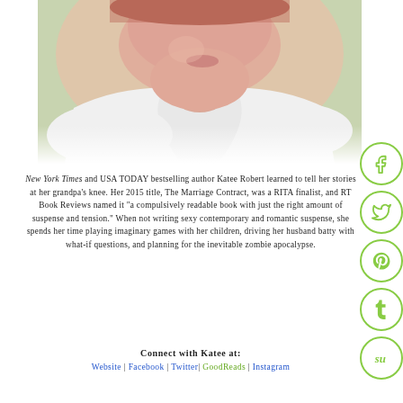[Figure (photo): Portrait photo of author Katee Robert, woman in white top, close-up, light background]
New York Times and USA TODAY bestselling author Katee Robert learned to tell her stories at her grandpa's knee. Her 2015 title, The Marriage Contract, was a RITA finalist, and RT Book Reviews named it 'a compulsively readable book with just the right amount of suspense and tension.' When not writing sexy contemporary and romantic suspense, she spends her time playing imaginary games with her children, driving her husband batty with what-if questions, and planning for the inevitable zombie apocalypse.
Connect with Katee at:
Website | Facebook | Twitter | GoodReads | Instagram